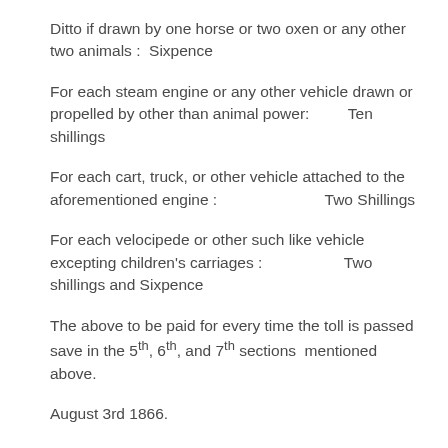Ditto if drawn by one horse or two oxen or any other two animals :  Sixpence
For each steam engine or any other vehicle drawn or propelled by other than animal power:        Ten shillings
For each cart, truck, or other vehicle attached to the aforementioned engine :                        Two Shillings
For each velocipede or other such like vehicle excepting children's carriages :                    Two shillings and Sixpence
The above to be paid for every time the toll is passed save in the 5th, 6th, and 7th sections  mentioned above.
August 3rd 1866.
ooo000ooo